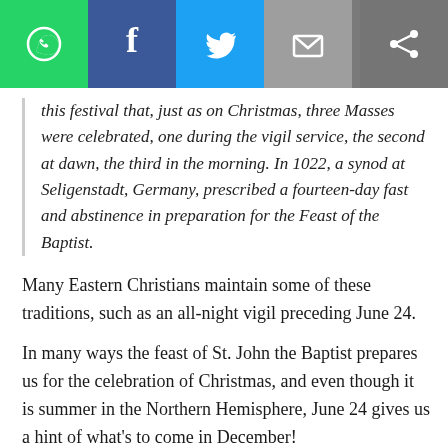[Figure (other): Social sharing toolbar with WhatsApp (green), Facebook (blue), Twitter (light blue), Email (grey) icons on the left, and a share icon on the right on dark grey background]
this festival that, just as on Christmas, three Masses were celebrated, one during the vigil service, the second at dawn, the third in the morning. In 1022, a synod at Seligenstadt, Germany, prescribed a fourteen-day fast and abstinence in preparation for the Feast of the Baptist.
Many Eastern Christians maintain some of these traditions, such as an all-night vigil preceding June 24.
In many ways the feast of St. John the Baptist prepares us for the celebration of Christmas, and even though it is summer in the Northern Hemisphere, June 24 gives us a hint of what's to come in December!